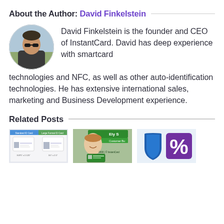About the Author: David Finkelstein
[Figure (photo): Circular portrait photo of David Finkelstein, a man with sunglasses outdoors]
David Finkelstein is the founder and CEO of InstantCard. David has deep experience with smartcard technologies and NFC, as well as other auto-identification technologies. He has extensive international sales, marketing and Business Development experience.
Related Posts
[Figure (photo): Thumbnail image showing ID card comparison: Standard ID Card vs Large Format ID Card]
[Figure (photo): Thumbnail image of a woman smiling holding an ID card, text: Ely S, Customer Bu]
[Figure (photo): Thumbnail image showing a blue shield and a percent sign symbol]